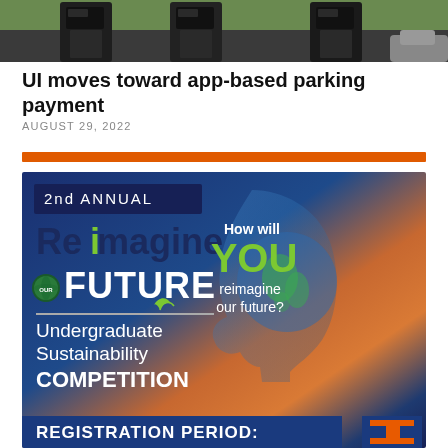[Figure (photo): Photo of parking meters at the University of Illinois]
UI moves toward app-based parking payment
AUGUST 29, 2022
[Figure (infographic): 2nd Annual Reimagine Our Future Undergraduate Sustainability Competition advertisement. Text: 2nd ANNUAL, Reimagine OUR FUTURE, Undergraduate Sustainability COMPETITION, How will YOU reimagine our future?, REGISTRATION PERIOD:]